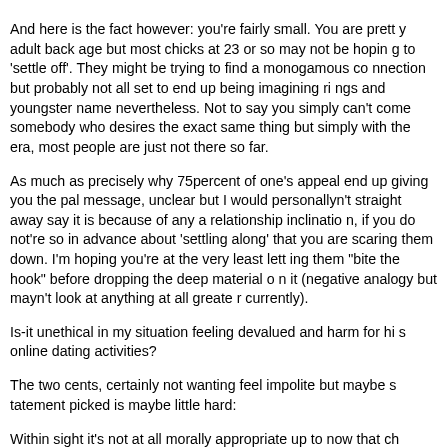And here is the fact however: you're fairly small. You are pretty adult back age but most chicks at 23 or so may not be hoping to 'settle off'. They might be trying to find a monogamous connection but probably not all set to end up being imagining rings and youngster name nevertheless. Not to say you simply can't come somebody who desires the exact same thing but simply with the era, most people are just not there so far. As much as precisely why 75percent of one's appeal end up giving you the pal message, unclear but I would personallyn't straight away say it is because of any a relationship inclination, if you do not're so in advance about 'settling along' that you are scaring them down. I'm hoping you're at the very least letting them "bite the hook" before dropping the deep material on it (negative analogy but mayn't look at anything at all greater currently). Is-it unethical in my situation feeling devalued and harm for his online dating activities? The two cents, certainly not wanting feel impolite but maybe statement picked is maybe little hard: Within sight it's not at all morally appropriate up to now that children. I would not actually make your actual stage within the text just what is the things that pests you about any of it tendencies. Might basic matter clear to on your own? If you feel behavior is certainly not okay just why is it some problem between